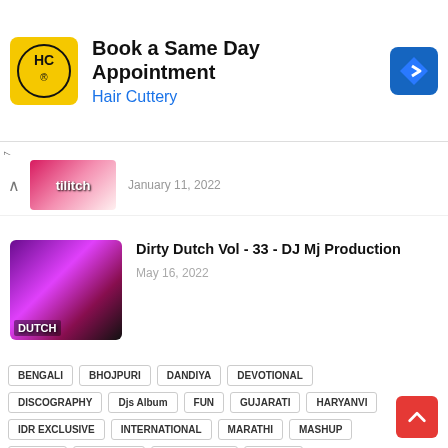[Figure (other): Hair Cuttery advertisement banner with logo, text 'Book a Same Day Appointment', 'Hair Cuttery', and a blue diamond navigation icon]
[Figure (photo): Partially visible music album thumbnail with pink and white design]
January 11, 2022
[Figure (photo): Dirty Dutch Vol 33 DJ album cover with performer in red outfit on pink/purple background]
Dirty Dutch Vol - 33 - DJ Mj Production
May 16, 2022
BENGALI
BHOJPURI
DANDIYA
DEVOTIONAL
DISCOGRAPHY
Djs Album
FUN
GUJARATI
HARYANVI
IDR EXCLUSIVE
INTERNATIONAL
MARATHI
MASHUP
MOVIES
NON STOP
OCCASIONAL
ODISHA
ORIGINAL
PUNJABI
RAJASTHANI
RETRO REWIND
SINGLE
WEDDING